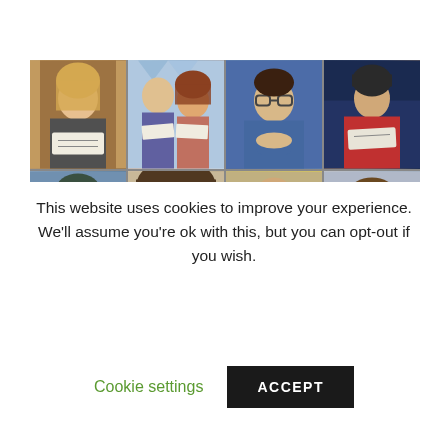[Figure (photo): A 2x4 grid of photos showing people holding checks/money, with a yellow 'Lose Weight &' banner overlay and an orange card in bottom right corner]
This website uses cookies to improve your experience. We'll assume you're ok with this, but you can opt-out if you wish.
Cookie settings
ACCEPT